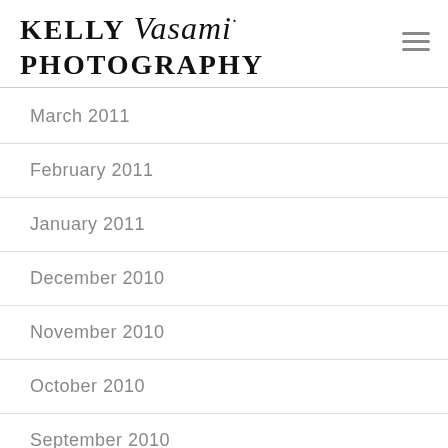KELLY Vasami· PHOTOGRAPHY
March 2011
February 2011
January 2011
December 2010
November 2010
October 2010
September 2010
August 2010
July 2010